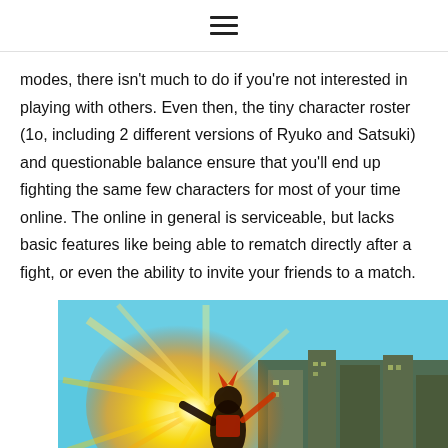≡
modes, there isn't much to do if you're not interested in playing with others. Even then, the tiny character roster (1o, including 2 different versions of Ryuko and Satsuki) and questionable balance ensure that you'll end up fighting the same few characters for most of your time online. The online in general is serviceable, but lacks basic features like being able to rematch directly after a fight, or even the ability to invite your friends to a match.
[Figure (photo): Screenshot from an anime-style fighting game showing a character surrounded by a glowing golden energy burst effect, with a city skyline background featuring buildings under a blue sky.]